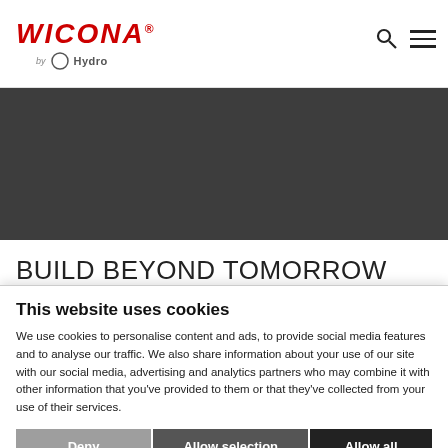WICONA by Hydro
[Figure (photo): Dark grey banner image area on website]
BUILD BEYOND TOMORROW
This website uses cookies
We use cookies to personalise content and ads, to provide social media features and to analyse our traffic. We also share information about your use of our site with our social media, advertising and analytics partners who may combine it with other information that you've provided to them or that they've collected from your use of their services.
Deny | Allow selection | Allow all
Necessary | Preferences | Statistics | Marketing | Show details